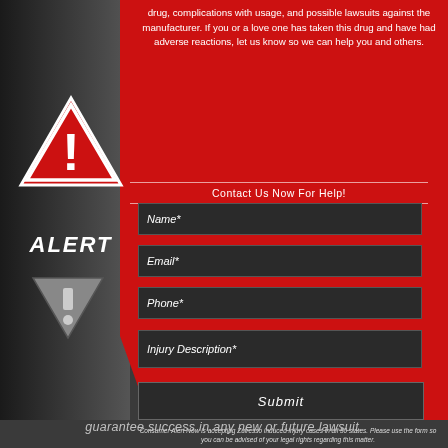drug, complications with usage, and possible lawsuits against the manufacturer. If you or a love one has taken this drug and have had adverse reactions, let us know so we can help you and others.
[Figure (infographic): Red warning triangle with exclamation mark and ALERT text below, plus a downward-pointing grey information triangle icon]
Contact Us Now For Help!
Name*
Email*
Phone*
Injury Description*
Submit
Consumer Alert Now is accepting Zulresso induced injury cases in all 50 states. Please use the form so you can be advised of your legal rights regarding this matter.
guarantee success in any new or future lawsuit.